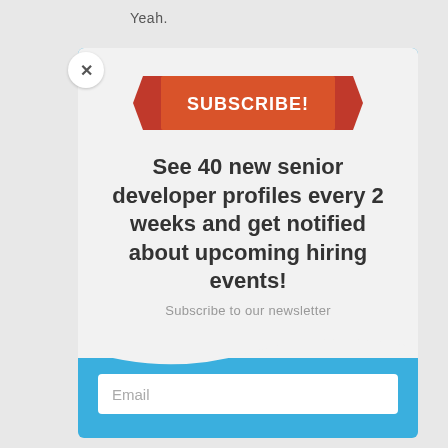Yeah.
[Figure (screenshot): Subscribe modal popup with a red ribbon banner saying SUBSCRIBE!, descriptive headline text, newsletter subtext, and an email input field on a blue background with white content panel.]
SUBSCRIBE!
See 40 new senior developer profiles every 2 weeks and get notified about upcoming hiring events!
Subscribe to our newsletter
Email